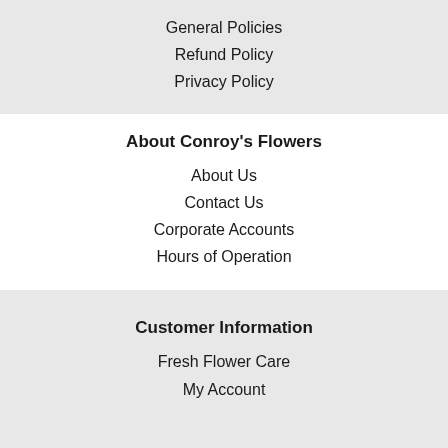General Policies
Refund Policy
Privacy Policy
About Conroy's Flowers
About Us
Contact Us
Corporate Accounts
Hours of Operation
Customer Information
Fresh Flower Care
My Account
Connect with Us